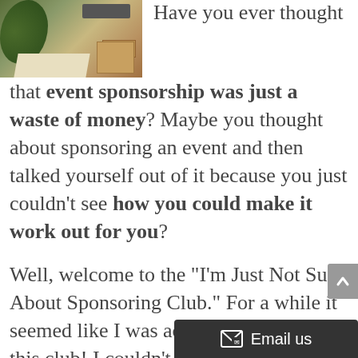[Figure (photo): A photo of a desk area with a leafy plant on the left, a keyboard, and cardboard boxes on the right.]
Have you ever thought that event sponsorship was just a waste of money? Maybe you thought about sponsoring an event and then talked yourself out of it because you just couldn't see how you could make it work out for you?
Well, welcome to the “I’m Just Not Sure About Sponsoring Club.” For a while it seemed like I was acting as president of this club! I couldn’t see how I would possibly recoup my investment; I was terrified of the thought